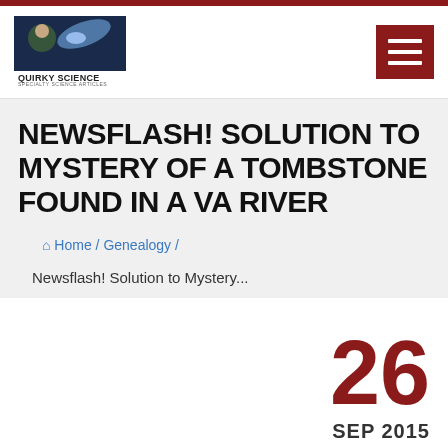[Figure (logo): Quirky Science logo with comet and person image, text reads QUIRKY SCIENCE SPECIALTY SCIENCE ARTICLES]
NEWSFLASH! SOLUTION TO MYSTERY OF A TOMBSTONE FOUND IN A VA RIVER
Home / Genealogy /
Newsflash! Solution to Mystery...
26
SEP 2015